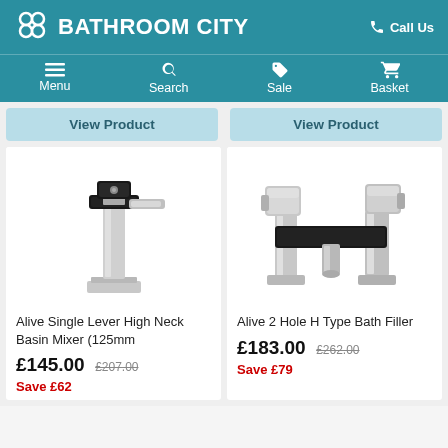BATHROOM CITY  Call Us
Menu  Search  Sale  Basket
View Product
View Product
[Figure (photo): Alive Single Lever High Neck Basin Mixer (125mm) - chrome tall bathroom tap with square angular design]
Alive Single Lever High Neck Basin Mixer (125mm
£145.00  £207.00  Save £62
[Figure (photo): Alive 2 Hole H Type Bath Filler - chrome bridge-style bath filler tap with square contemporary design]
Alive 2 Hole H Type Bath Filler
£183.00  £262.00  Save £79